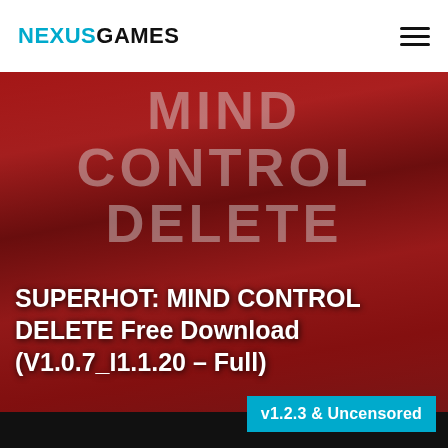NEXUSGAMES
[Figure (photo): Game cover art for SUPERHOT: MIND CONTROL DELETE showing a red figure silhouette with large white/grey text reading MIND CONTROL DELETE overlaid on the image background]
SUPERHOT: MIND CONTROL DELETE Free Download (V1.0.7_I1.1.20 – Full)
v1.2.3 & Uncensored